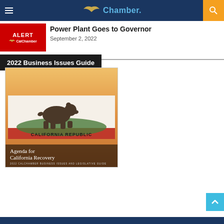CalChamber | Chamber.
Power Plant Goes to Governor
September 2, 2022
2022 Business Issues Guide
[Figure (photo): Cover of the 2022 CalChamber Business Issues and Legislative Guide showing the California Republic flag with a grizzly bear, with text 'Agenda for California Recovery' and subtitle '2022 CALCHAMBER BUSINESS ISSUES AND LEGISLATIVE GUIDE']